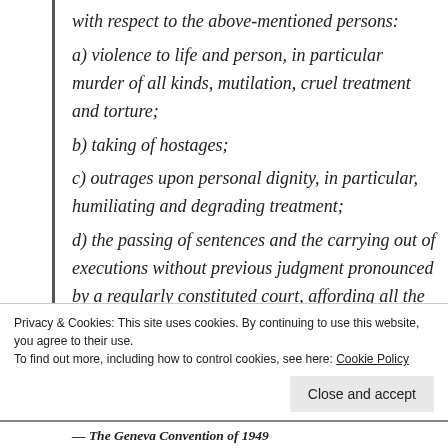with respect to the above-mentioned persons:
a) violence to life and person, in particular murder of all kinds, mutilation, cruel treatment and torture;
b) taking of hostages;
c) outrages upon personal dignity, in particular, humiliating and degrading treatment;
d) the passing of sentences and the carrying out of executions without previous judgment pronounced by a regularly constituted court, affording all the judicial guarantees which are recognized as
Privacy & Cookies: This site uses cookies. By continuing to use this website, you agree to their use.
To find out more, including how to control cookies, see here: Cookie Policy
— The Geneva Convention of 1949